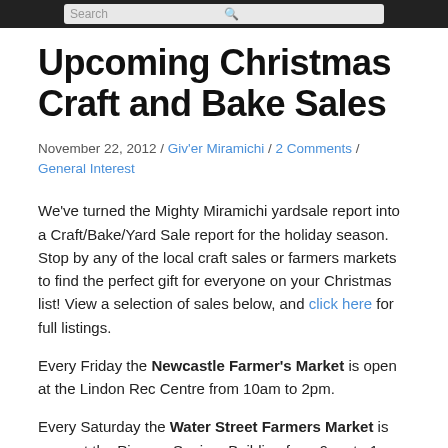Search
Upcoming Christmas Craft and Bake Sales
November 22, 2012 / Giv'er Miramichi / 2 Comments / General Interest
We've turned the Mighty Miramichi yardsale report into a Craft/Bake/Yard Sale report for the holiday season. Stop by any of the local craft sales or farmers markets to find the perfect gift for everyone on your Christmas list! View a selection of sales below, and click here for full listings.
Every Friday the Newcastle Farmer's Market is open at the Lindon Rec Centre from 10am to 2pm.
Every Saturday the Water Street Farmers Market is open at the Pioneer Seniors Building from 9am to 1pm.